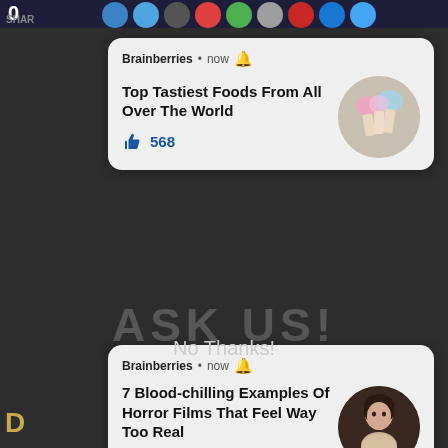[Figure (screenshot): Dark background web page with social sharing icons at top and number 0, SHARE text visible]
[Figure (infographic): Notification card 1 from Brainberries showing Top Tastiest Foods From All Over The World with ice cream cone thumbnail and 568 likes]
[Figure (infographic): Notification card 2 from Brainberries showing 7 Blood-chilling Examples Of Horror Films That Feel Way Too Real with woman portrait thumbnail and 640 likes]
TAP HERE TO ASK:
No Thanks!